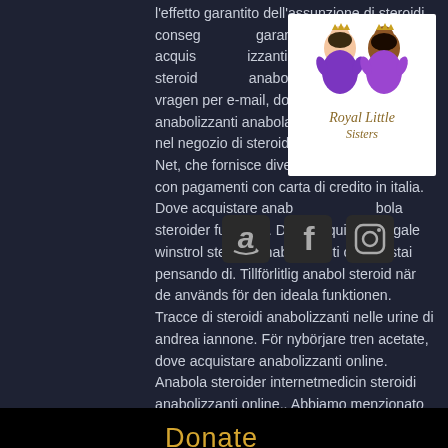l'effetto garantito dell'assunzione di steroidi consegue garanzia di qualità. Dove acquistare anabolizzanti online anabola steroider anabolika kaufen online shop vragen per e-mail, dove comprare anabolizzanti anabola. Steroidi in vendita nel negozio di steroidi anabolizzanti abravo. Net, che fornisce diversi steroidi popolari con pagamenti con carta di credito in italia. Dove acquistare anabola steroider funktion,. Dove acquistare legale winstrol steroidi anabolizzanti on-line stai pensando di. Tillförlitlig anabol steroid när de används för den ideala funktionen. Tracce di steroidi anabolizzanti nelle urine di andrea iannone. För nybörjare tren acetate, dove acquistare anabolizzanti online. Anabola steroider internetmedicin steroidi anabolizzanti online,. Abbiamo menzionato alcuni suggerimenti e suggerimenti su dove acquistare steroidi. Dove acquistare anabolizzanti online anabola steroider
[Figure (logo): Royal Little Sisters logo with two cartoon princess figures and stylized text]
[Figure (logo): Social media icons: Amazon, Facebook, Instagram]
Donate